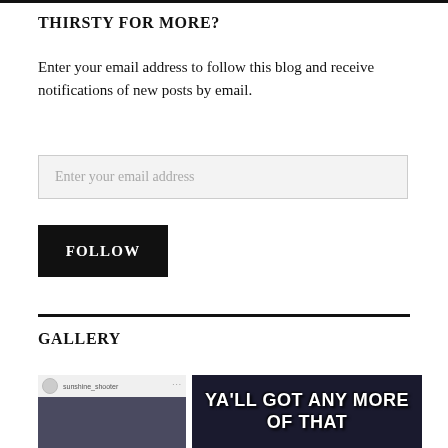THIRSTY FOR MORE?
Enter your email address to follow this blog and receive notifications of new posts by email.
Enter your email address
FOLLOW
GALLERY
[Figure (screenshot): Two gallery images: left shows a social media post with username and a dark image; right shows a meme with text 'YA'LL GOT ANY MORE OF THAT']